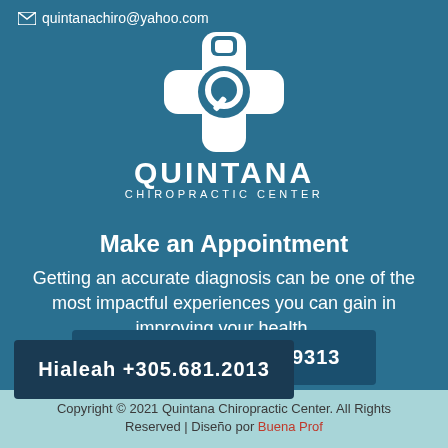quintanachiro@yahoo.com
[Figure (logo): Quintana Chiropractic Center logo — white cross/medical symbol with a Q shape inside, text QUINTANA CHIROPRACTIC CENTER below]
Make an Appointment
Getting an accurate diagnosis can be one of the most impactful experiences you can gain in improving your health.
Kendall +305.670.9313
Hialeah +305.681.2013
Copyright © 2021 Quintana Chiropractic Center. All Rights Reserved | Diseño por Buena Prof...